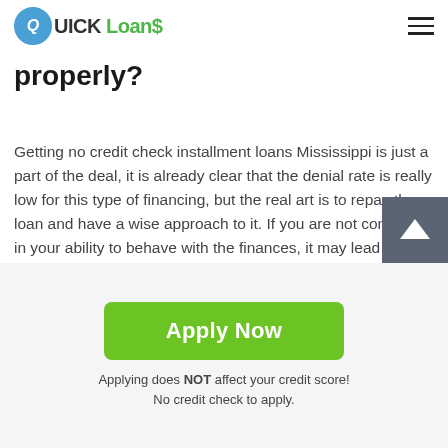QUICK Loans
properly?
Getting no credit check installment loans Mississippi is just a part of the deal, it is already clear that the denial rate is really low for this type of financing, but the real art is to repay the loan and have a wise approach to it. If you are not confident in your ability to behave with the finances, it may lead you even to deeper debt. Hopefully, the recommendation below will help you to get the best out of your loan and help out to plan your income and expenses properly.
[Figure (other): Scroll to top button with upward arrow icon]
Apply Now
Applying does NOT affect your credit score!
No credit check to apply.